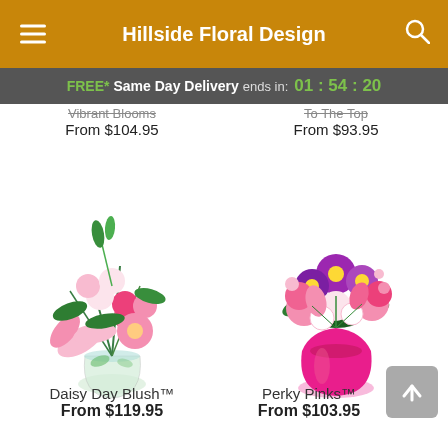Hillside Floral Design
FREE* Same Day Delivery ends in: 01:54:20
Vibrant Blooms
From $104.95
To The Top
From $93.95
[Figure (photo): Daisy Day Blush floral arrangement in a glass vase with pink lilies, carnations, gerbera daisies, and greenery]
Daisy Day Blush™
From $119.95
[Figure (photo): Perky Pinks floral arrangement in a pink vase with pink carnations, purple asters, and white flowers]
Perky Pinks™
From $103.95